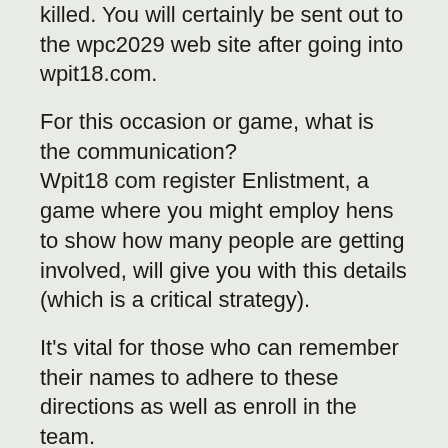killed. You will certainly be sent out to the wpc2029 web site after going into wpit18.com.
For this occasion or game, what is the communication?
Wpit18 com register Enlistment, a game where you might employ hens to show how many people are getting involved, will give you with this details (which is a critical strategy).
It’s vital for those who can remember their names to adhere to these directions as well as enroll in the team.
People will certainly have the ability to place their belief in the site’s capacity to move when every one of the modern technologies are in location. While they’re